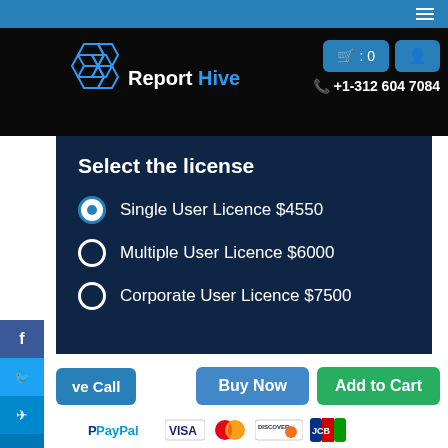Report Hive — navigation bar with logo, cart (0), user icon, +1-312 604 7084
Select the license
Single User Licence $4550
Multiple User Licence $6000
Corporate User Licence $7500
[Figure (screenshot): Action buttons row: Live Call, Buy Now, Add to Cart]
[Figure (screenshot): Payment method icons: PayPal, Visa, MasterCard, Discover, JCB]
[Figure (screenshot): Bottom cards: Share Report via Email, Sample Report]